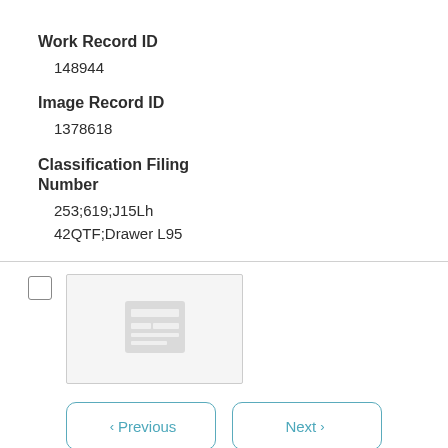Work Record ID
148944
Image Record ID
1378618
Classification Filing Number
253;619;J15Lh
42QTF;Drawer L95
[Figure (screenshot): Thumbnail image placeholder with a document icon, preceded by a checkbox]
< Previous   Next >
Go to page: 5 of 6  Go